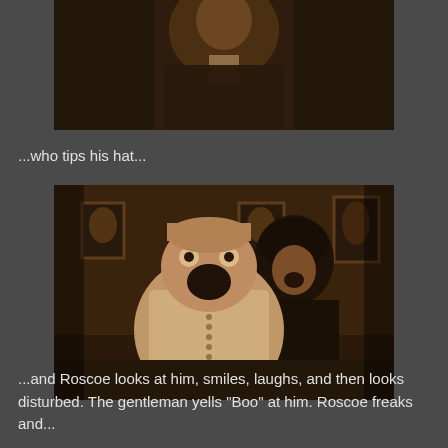[Figure (photo): Sepia-toned still from a silent film showing a man in a dark suit, partially visible from shoulders up, against a dark background.]
...who tips his hat...
[Figure (photo): Sepia-toned still from a silent film showing two people indoors: a heavy-set person in a light-colored button-up garment with mouth wide open in shock, and behind them a dark-haired person also appearing to yell. Framed pictures visible on the wall behind them.]
...and Roscoe looks at him, smiles, laughs, and then looks disturbed.  The gentleman yells "Boo" at him.   Roscoe freaks and...